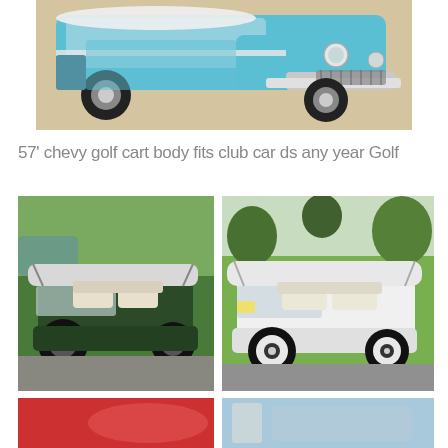[Figure (photo): Front view of a teal/turquoise 1957 Chevrolet-style custom golf cart with chrome bumper and classic styling]
57' chevy golf cart body fits club car ds any year Golf
[Figure (photo): Green 4-seater golf cart on a golf course path with green grass in background]
[Figure (photo): White 4-seater golf cart parked on a path with trees in background]
[Figure (photo): Partial view of additional golf cart images at bottom of page]